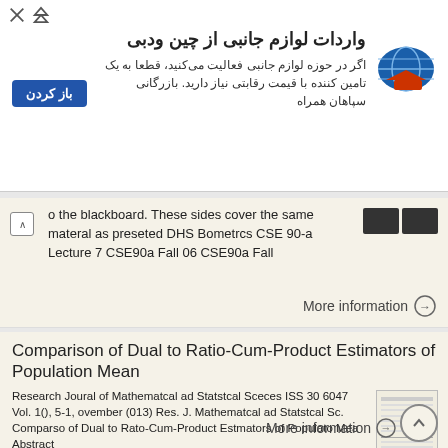[Figure (infographic): Advertisement banner in Persian for importing car parts from China. Contains Persian text 'واردات لوازم جانبی از چین ودبی', sub-text about competitive pricing, a blue button labeled 'باز کردن', and a globe/laptop logo on the right.]
o the blackboard. These sides cover the same materal as preseted DHS Bometrcs CSE 90-a Lecture 7 CSE90a Fall 06 CSE90a Fall
More information →
Comparison of Dual to Ratio-Cum-Product Estimators of Population Mean
Research Joural of Mathematcal ad Statstcal Sceces ISS 30 6047 Vol. 1(), 5-1, ovember (013) Res. J. Mathematcal ad Statstcal Sc. Comparso of Dual to Rato-Cum-Product Estmators of Populato Mea Abstract
More information →